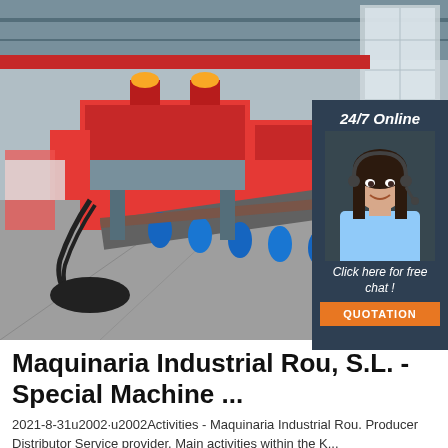[Figure (photo): Factory floor with large red industrial band saw / cutting machine on a production line with blue conveyor rollers, photographed inside a large industrial building with overhead cranes and skylights.]
[Figure (photo): Sidebar overlay showing a smiling female customer service agent wearing a headset, with dark navy blue background, '24/7 Online' text, 'Click here for free chat!' text, and an orange 'QUOTATION' button.]
Maquinaria Industrial Rou, S.L. - Special Machine ...
2021-8-31u2002·u2002Activities - Maquinaria Industrial Rou. Producer Distributor Service provider. Main activities within the K...